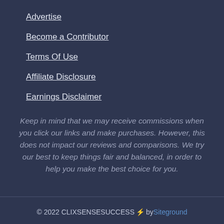Advertise
Become a Contributor
Terms Of Use
Affiliate Disclosure
Earnings Disclaimer
Keep in mind that we may receive commissions when you click our links and make purchases. However, this does not impact our reviews and comparisons. We try our best to keep things fair and balanced, in order to help you make the best choice for you.
© 2022 CLIXSENSESUCCESS ⚡ by Siteground